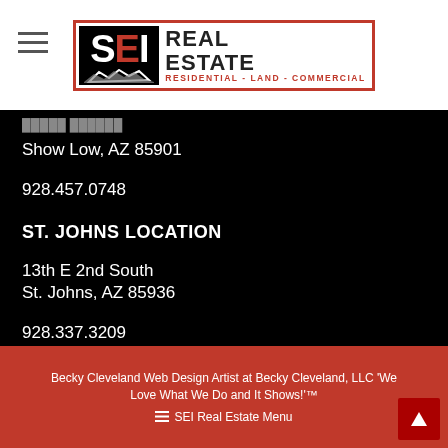[Figure (logo): SEI Real Estate logo with red and black design, text: RESIDENTIAL - LAND - COMMERCIAL]
Show Low, AZ 85901
928.457.0748
ST. JOHNS LOCATION
13th E 2nd South
St. Johns, AZ 85936
928.337.3209
Becky Cleveland Web Design Artist at Becky Cleveland, LLC 'We Love What We Do and It Shows!'™
☰ SEI Real Estate Menu